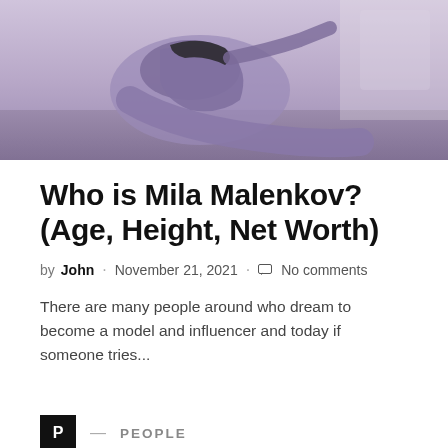[Figure (photo): Woman in purple/lavender athletic wear doing a stretching or yoga pose on the floor, viewed from behind/side, showing a fitness/lifestyle image]
Who is Mila Malenkov? (Age, Height, Net Worth)
by John · November 21, 2021 · No comments
There are many people around who dream to become a model and influencer and today if someone tries...
P — PEOPLE
[Figure (photo): Partially visible photo at bottom of page, appears to show a person]